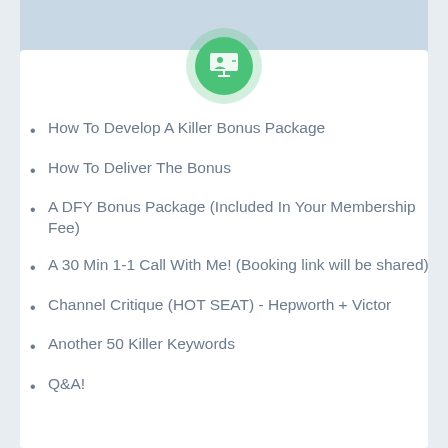[Figure (illustration): Green circle icon with a presenter/screen icon inside, on a light blue-gray banner background]
How To Develop A Killer Bonus Package
How To Deliver The Bonus
A DFY Bonus Package (Included In Your Membership Fee)
A 30 Min 1-1 Call With Me! (Booking link will be shared)
Channel Critique (HOT SEAT) - Hepworth + Victor
Another 50 Killer Keywords
Q&A!